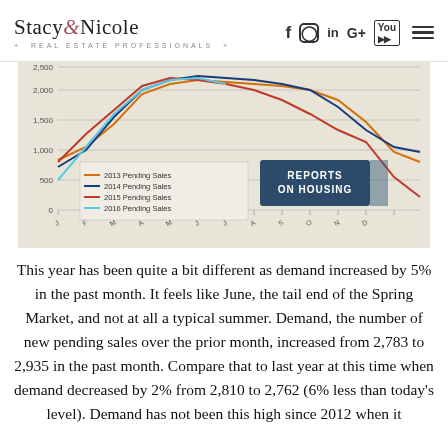Stacy & Nicole · REAL ESTATE PROFESSIONALS
[Figure (line-chart): Multi-year line chart showing pending sales for 2013, 2014, 2015, and 2016. Y-axis ranges from 0 to approximately 3,000+. X-axis shows months. Lines show seasonal trends. Legend: 2013 Pending Sales (orange), 2014 Pending Sales (blue), 2015 Pending Sales (red), 2016 Pending Sales (light blue). A 'Reports on Housing' badge is overlaid on the chart.]
This year has been quite a bit different as demand increased by 5% in the past month. It feels like June, the tail end of the Spring Market, and not at all a typical summer. Demand, the number of new pending sales over the prior month, increased from 2,783 to 2,935 in the past month. Compare that to last year at this time when demand decreased by 2% from 2,810 to 2,762 (6% less than today's level). Demand has not been this high since 2012 when it